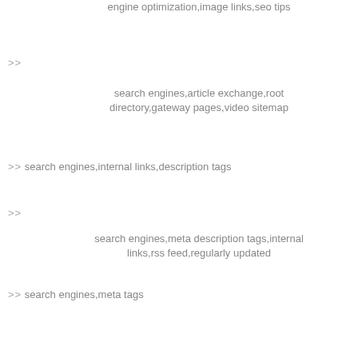engine optimization,image links,seo tips
>> search engines,article exchange,root directory,gateway pages,video sitemap
>> search engines,internal links,description tags
>> search engines,meta description tags,internal links,rss feed,regularly updated
>> search engines,meta tags
>> search engines,search engine optimization,anchor text,directory submissions,free publicity
>>